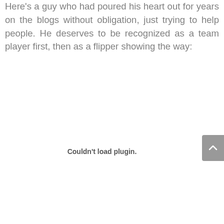Here's a guy who had poured his heart out for years on the blogs without obligation, just trying to help people. He deserves to be recognized as a team player first, then as a flipper showing the way:
Couldn't load plugin.